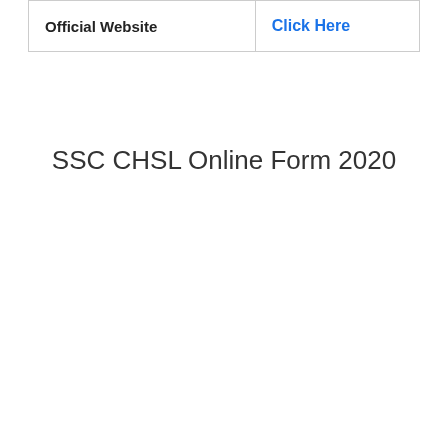| Official Website | Click Here |
| --- | --- |
SSC CHSL Online Form 2020